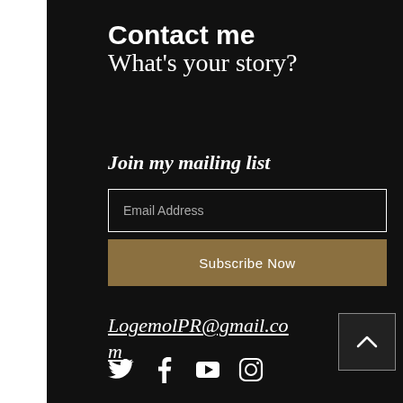Contact me
What's your story?
Join my mailing list
Email Address
Subscribe Now
LogemolPR@gmail.com
[Figure (other): Social media icons: Twitter, Facebook, YouTube, Instagram]